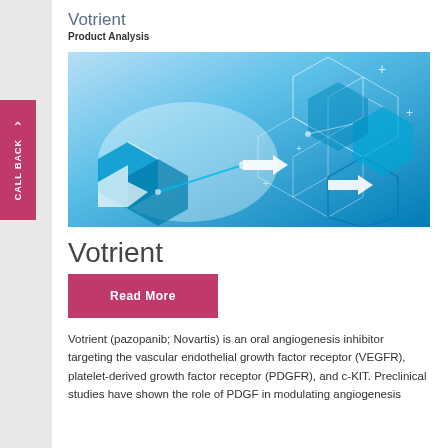Votrient
Product Analysis
[Figure (illustration): Abstract digital hexagonal network graphic with blue and white teal tones, arrows, and interconnected geometric shapes suggesting technology or biomedical research.]
Votrient
Read More
Votrient (pazopanib; Novartis) is an oral angiogenesis inhibitor targeting the vascular endothelial growth factor receptor (VEGFR), platelet-derived growth factor receptor (PDGFR), and c-KIT. Preclinical studies have shown the role of PDGF in modulating angiogenesis